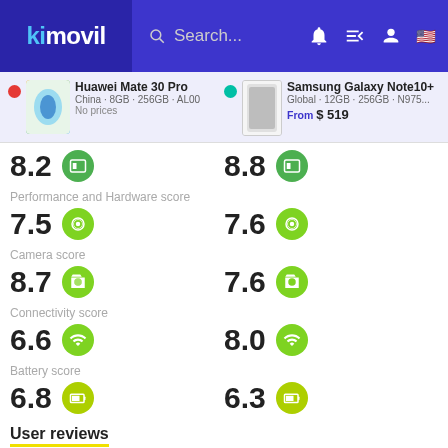kimovil — Search... header with navigation icons
| Huawei Mate 30 Pro | Samsung Galaxy Note10+ |
| --- | --- |
| China · 8GB · 256GB · AL00 | Global · 12GB · 256GB · N975... |
| No prices | From $519 |
| 8.2 (overall score) | 8.8 (overall score) |
| Performance and Hardware score |  |
| 7.5 | 7.6 |
| Camera score |  |
| 8.7 | 7.6 |
| Connectivity score |  |
| 6.6 | 8.0 |
| Battery score |  |
| 6.8 | 6.3 |
User reviews